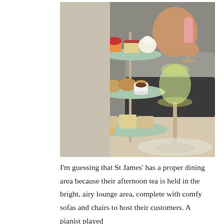[Figure (photo): A three-tiered afternoon tea stand on a table, with scones, sandwiches, and cakes on each tier. A person sits behind the stand holding a glass of rosé wine, with a glass of white wine in the foreground.]
I'm guessing that St James' has a proper dining area because their afternoon tea is held in the bright, airy lounge area, complete with comfy sofas and chairs to host their customers. A pianist played